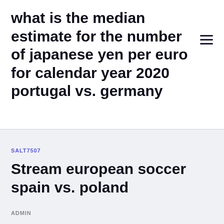what is the median estimate for the number of japanese yen per euro for calendar year 2020 portugal vs. germany
SALT7507
Stream european soccer spain vs. poland
ADMIN